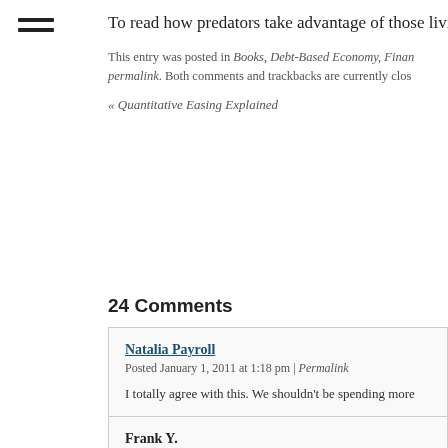[Figure (other): Hamburger menu icon with three horizontal lines]
To read how predators take advantage of those living
This entry was posted in Books, Debt-Based Economy, Finan... permalink. Both comments and trackbacks are currently clos...
« Quantitative Easing Explained
24 Comments
Natalia Payroll
Posted January 1, 2011 at 1:18 pm | Permalink
I totally agree with this. We shouldn't be spending more
Frank Y.
Posted November 23, 2010 at 6:48 am | Permalink